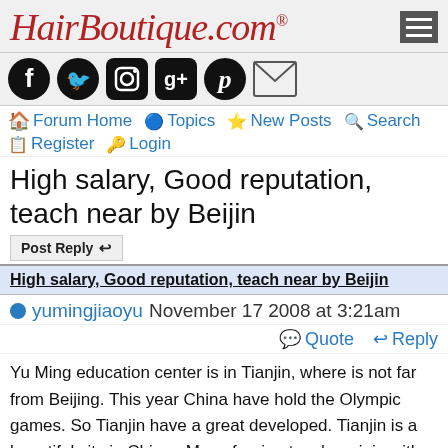[Figure (logo): HairBoutique.com logo in red italic script font with registered trademark symbol, and a hamburger menu icon on the right]
[Figure (infographic): Social media icons: Facebook, Twitter, Instagram, Google+, Pinterest, Email]
Forum Home  Topics  New Posts  Search  Register  Login
High salary, Good reputation, teach near by Beijin
Post Reply
High salary, Good reputation, teach near by Beijin
yumingjiaoyu November 17 2008 at 3:21am
Quote  Reply
Yu Ming education center is in Tianjin, where is not far from Beijing. This year China have hold the Olympic games. So Tianjin have a great developed. Tianjin is a beautiful city in China.  Many foreign teachers join with YuMing center . And all of foreign teacher enjoy in YuMing. YuMing have a strong foreign teacher team. It enjoys a great reputation both with students and our teachers. We pay our teachers on time and even set up